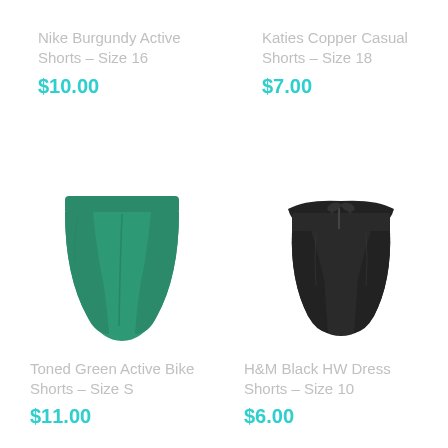Nike Burgundy Active Shorts – Size 16
$10.00
Katies Copper Casual Shorts – Size 18
$7.00
[Figure (photo): Toned green active bike shorts, high waist, product photo on white background]
Toned Green Active Bike Shorts – Size S
$11.00
[Figure (photo): H&M black high-waist dress shorts with tie belt, product photo on white background]
H&M Black HW Dress Shorts – Size 10
$6.00